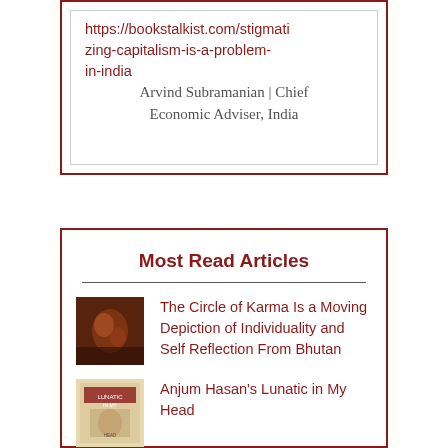https://bookstalkist.com/stigmatizing-capitalism-is-a-problem-in-india
Arvind Subramanian | Chief Economic Adviser, India
Most Read Articles
The Circle of Karma Is a Moving Depiction of Individuality and Self Reflection From Bhutan
Anjum Hasan's Lunatic in My Head